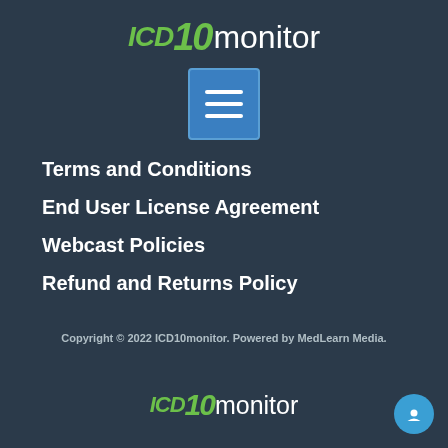[Figure (logo): ICD10monitor logo at top center with green ICD10 text and white monitor text]
[Figure (other): Blue hamburger menu button with three white horizontal lines]
Terms and Conditions
End User License Agreement
Webcast Policies
Refund and Returns Policy
Copyright © 2022 ICD10monitor. Powered by MedLearn Media.
[Figure (logo): ICD10monitor logo at bottom center with green ICD10 text and white monitor text]